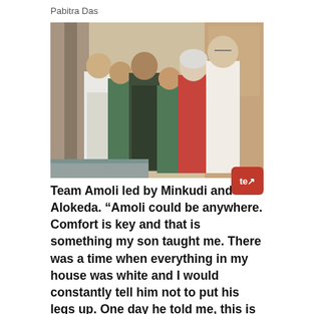Pabitra Das
[Figure (photo): Group photo of six people (Team Amoli) standing together indoors. Three younger men wearing aprons on the left, a younger woman in the center, an older woman in a red blouse, and a tall man in a white shirt on the right.]
Team Amoli led by Minkudi and Alokeda. “Amoli could be anywhere. Comfort is key and that is something my son taught me. There was a time when everything in my house was white and I would constantly tell him not to put his legs up. One day he told me, this is my home and if I want, I should be able to sleep on the couch and put my